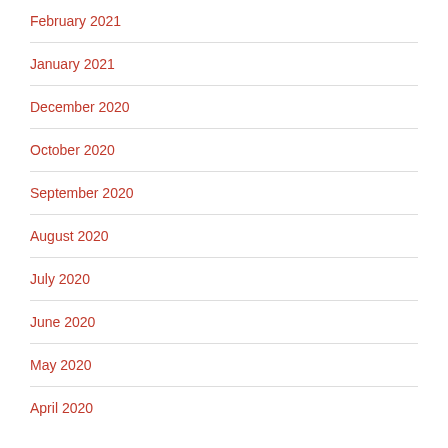February 2021
January 2021
December 2020
October 2020
September 2020
August 2020
July 2020
June 2020
May 2020
April 2020